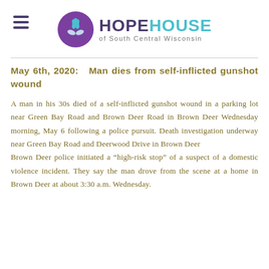[Figure (logo): Hope House of South Central Wisconsin logo with purple circle containing teal leaf/flower design, and text 'HOPEHOUSE of South Central Wisconsin'. Hamburger menu icon on left.]
May 6th, 2020:  Man dies from self-inflicted gunshot wound
A man in his 30s died of a self-inflicted gunshot wound in a parking lot near Green Bay Road and Brown Deer Road in Brown Deer Wednesday morning, May 6 following a police pursuit. Death investigation underway near Green Bay Road and Deerwood Drive in Brown Deer
Brown Deer police initiated a "high-risk stop" of a suspect of a domestic violence incident. They say the man drove from the scene at a home in Brown Deer at about 3:30 a.m. Wednesday.